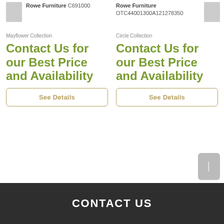Rowe Furniture C691000
Rowe Furniture OTC44001300A121278350
Mayflower Collection
Circle Collection
Contact Us for our Best Price and Availability
Contact Us for our Best Price and Availability
See Details
See Details
CONTACT US